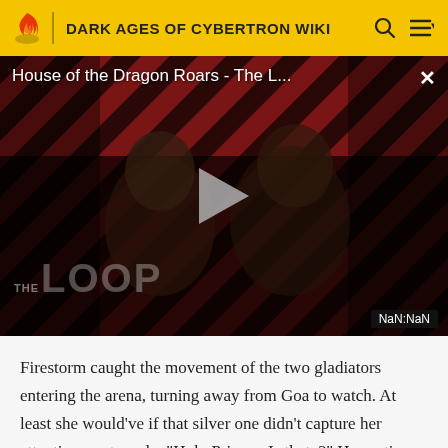DARK AGES OF CYBERTRON WIKI
[Figure (screenshot): Video player showing 'House of the Dragon Roars - The L...' with diagonal red/dark striped background, two hooded figures, play button in center, THE LOOP watermark, and NaN:NaN duration badge]
Firestorm caught the movement of the two gladiators entering the arena, turning away from Goa to watch. At least she would've if that silver one didn't capture her attention so strongly. "Holy Primus..Is that..?" Her optics